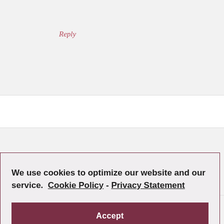Reply
We use cookies to optimize our website and our service.  Cookie Policy - Privacy Statement
Accept
Reply
Nikko Farmer-It Works says